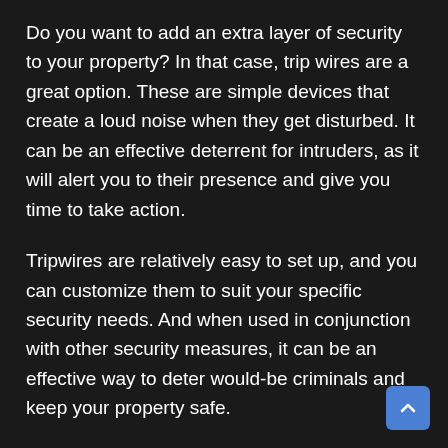Do you want to add an extra layer of security to your property? In that case, trip wires are a great option. These are simple devices that create a loud noise when they get disturbed. It can be an effective deterrent for intruders, as it will alert you to their presence and give you time to take action.
Tripwires are relatively easy to set up, and you can customize them to suit your specific security needs. And when used in conjunction with other security measures, it can be an effective way to deter would-be criminals and keep your property safe.